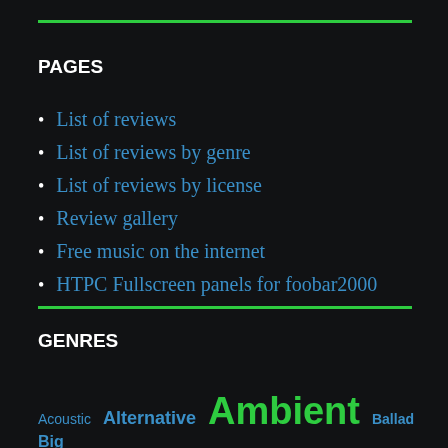PAGES
List of reviews
List of reviews by genre
List of reviews by license
Review gallery
Free music on the internet
HTPC Fullscreen panels for foobar2000
GENRES
Acoustic Alternative Ambient Ballad Big